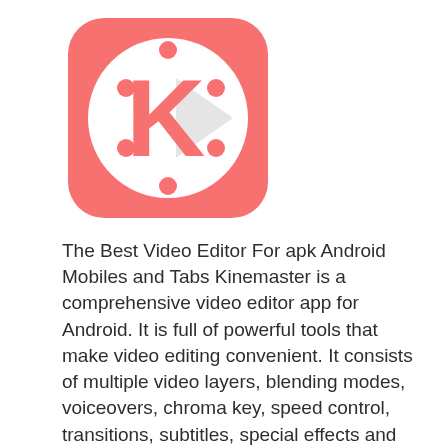[Figure (logo): KineMaster app logo: a salmon/coral rounded square with a white circle in the center containing a stylized red letter K with decorative dots around it]
The Best Video Editor For apk Android Mobiles and Tabs Kinemaster is a comprehensive video editor app for Android. It is full of powerful tools that make video editing convenient. It consists of multiple video layers, blending modes, voiceovers, chroma key, speed control, transitions, subtitles, special effects and so much more! Check yourself why video … Read more